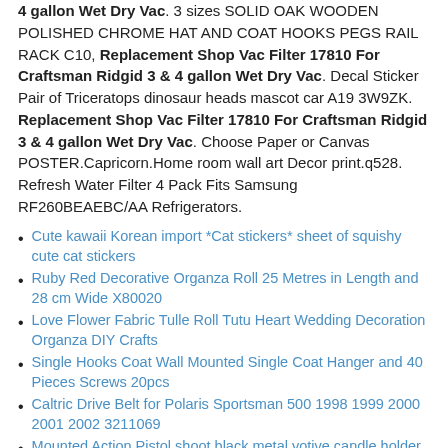4 gallon Wet Dry Vac. 3 sizes SOLID OAK WOODEN POLISHED CHROME HAT AND COAT HOOKS PEGS RAIL RACK C10, Replacement Shop Vac Filter 17810 For Craftsman Ridgid 3 & 4 gallon Wet Dry Vac. Decal Sticker Pair of Triceratops dinosaur heads mascot car A19 3W9ZK. Replacement Shop Vac Filter 17810 For Craftsman Ridgid 3 & 4 gallon Wet Dry Vac. Choose Paper or Canvas POSTER.Capricorn.Home room wall art Decor print.q528. Refresh Water Filter 4 Pack Fits Samsung RF260BEAEBC/AA Refrigerators.
Cute kawaii Korean import *Cat stickers* sheet of squishy cute cat stickers
Ruby Red Decorative Organza Roll 25 Metres in Length and 28 cm Wide X80020
Love Flower Fabric Tulle Roll Tutu Heart Wedding Decoration Organza DIY Crafts
Single Hooks Coat Wall Mounted Single Coat Hanger and 40 Pieces Screws 20pcs
Caltric Drive Belt for Polaris Sportsman 500 1998 1999 2000 2001 2002 3211069
Mounted Action Pistol shoot black metal votive candle holder
SỞ THÍCH